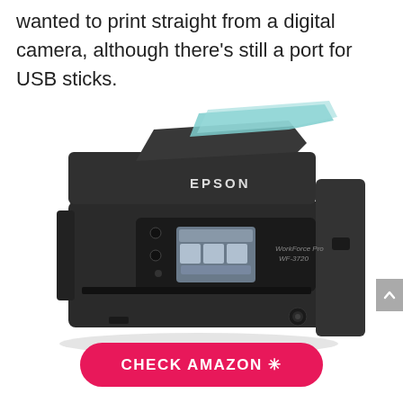wanted to print straight from a digital camera, although there's still a port for USB sticks.
[Figure (photo): Epson WorkForce Pro WF-3720 all-in-one inkjet printer, dark grey/black, shown with printed documents in output tray and papers in automatic document feeder]
CHECK AMAZON ☆